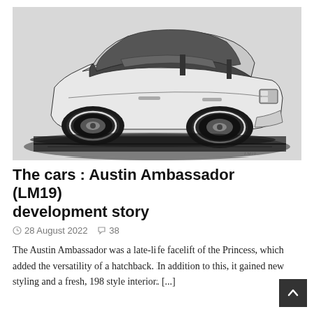[Figure (illustration): Black and white pencil/charcoal illustration of an Austin Ambassador (LM19) car, shown from a rear three-quarter angle. The car is depicted in a classic automotive design sketch style with dramatic shading and a dark shadow beneath the vehicle.]
The cars : Austin Ambassador (LM19) development story
28 August 2022  38
The Austin Ambassador was a late-life facelift of the Princess, which added the versatility of a hatchback. In addition to this, it gained new styling and a fresh, 198 style interior. [...]